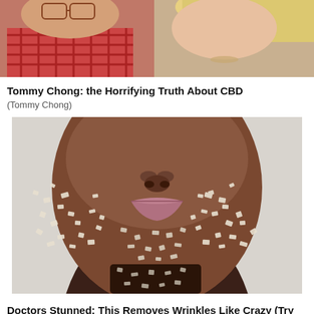[Figure (photo): Partial top photo showing two elderly people, one in a red checkered shirt and one with blonde hair]
Tommy Chong: the Horrifying Truth About CBD
(Tommy Chong)
[Figure (photo): Close-up photo of a person's face covered in salt crystals or sugar granules on lower face and chin area]
Doctors Stunned: This Removes Wrinkles Like Crazy (Try Tonight)